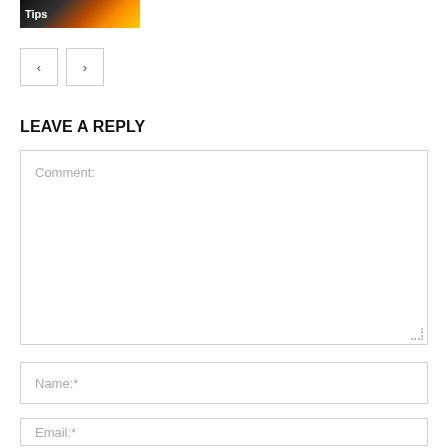[Figure (photo): Thumbnail image with fire/flame background and 'Tips' text label in white on dark background]
[Figure (other): Navigation previous/next buttons: left arrow button and right arrow button with light border]
LEAVE A REPLY
Comment:
Name:*
Email:*